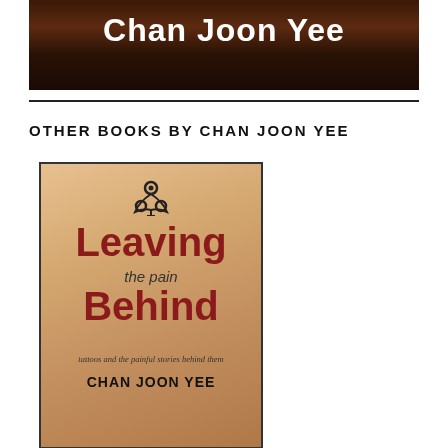[Figure (photo): Top portion of a book cover showing author name 'Chan Joon Yee' in white text on a dark reddish-brown forest background]
OTHER BOOKS BY CHAN JOON YEE
[Figure (photo): Book cover of 'Leaving the Pain Behind' by Chan Joon Yee, showing a woman's bare back with a biohazard tattoo. Title text in red reads 'Leaving the pain Behind' with tagline 'tattoos and the painful stories behind them']